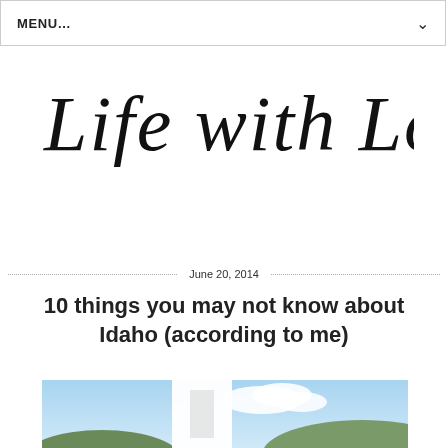MENU...
[Figure (illustration): Handwritten cursive blog title 'Life with Lolo' in black ink on white background]
June 20, 2014
10 things you may not know about Idaho (according to me)
[Figure (photo): Outdoor scenic photo showing blue sky with clouds, green hills, and a white sculptural object in the foreground]